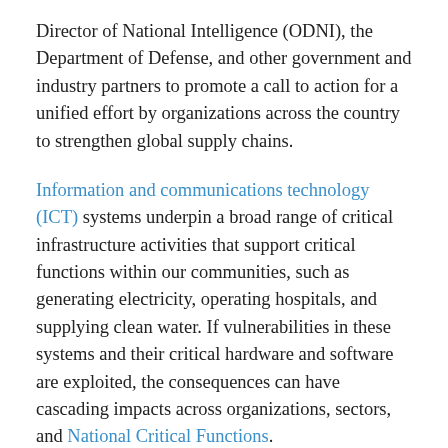Director of National Intelligence (ODNI), the Department of Defense, and other government and industry partners to promote a call to action for a unified effort by organizations across the country to strengthen global supply chains.
Information and communications technology (ICT) systems underpin a broad range of critical infrastructure activities that support critical functions within our communities, such as generating electricity, operating hospitals, and supplying clean water. If vulnerabilities in these systems and their critical hardware and software are exploited, the consequences can have cascading impacts across organizations, sectors, and National Critical Functions.
“As the number of sophisticated cyberattacks increase, we’re reminded that supply chain security in not a nice to have, but an urgent necessity,” said CISA Assistant Director Bob Kolasky. “Government and industry must work together to strengthen and enhance the security and safety of our